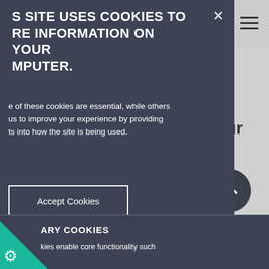SITE USES COOKIES TO RE INFORMATION ON YOUR MPUTER.
e of these cookies are essential, while others us to improve your experience by providing ts into how the site is being used.
Accept Cookies
o Not Accept Cookies
ainable and ts on your sing sales.
e your
bus ility work, you tuff you are able, such as:
ARY COOKIES
kies enable core functionality such